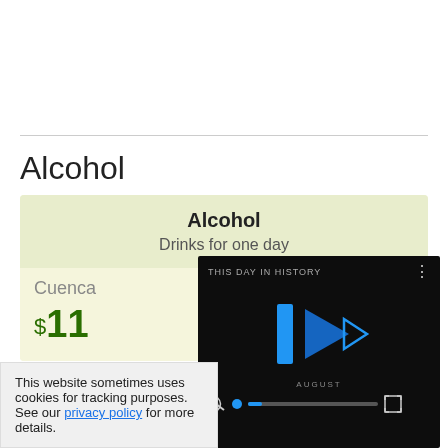Alcohol
|  | Cuenca | La Paz |
| --- | --- | --- |
| Alcohol
Drinks for one day | $11 |  |
[Figure (screenshot): Video player overlay showing 'THIS DAY IN HISTORY' with blue play buttons and a progress bar at bottom. Bottom bar has mute icon, blue circle scrubber, gray progress bar, and fullscreen button. 'AUGUST' label shown. Dark background.]
This website sometimes uses cookies for tracking purposes. See our privacy policy for more details.